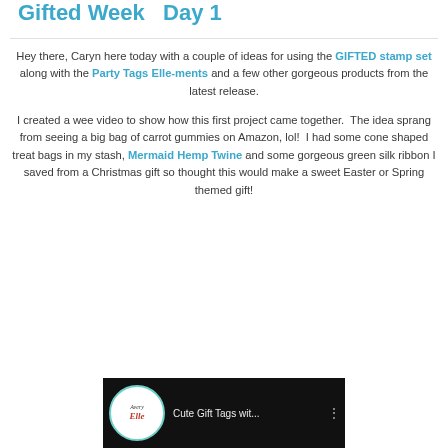Gifted Week  Day 1
Hey there, Caryn here today with a couple of ideas for using the GIFTED stamp set along with the Party Tags Elle-ments and a few other gorgeous products from the latest release.
I created a wee video to show how this first project came together.  The idea sprang from seeing a big bag of carrot gummies on Amazon, lol!  I had some cone shaped treat bags in my stash, Mermaid Hemp Twine and some gorgeous green silk ribbon I saved from a Christmas gift so thought this would make a sweet Easter or Spring themed gift!
[Figure (screenshot): Video thumbnail showing Avery Elle logo and title 'Cute Gift Tags wit...' on dark background]